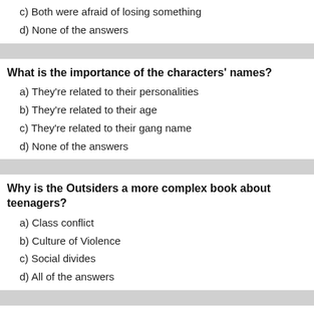c) Both were afraid of losing something
d) None of the answers
What is the importance of the characters' names?
a) They're related to their personalities
b) They're related to their age
c) They're related to their gang name
d) None of the answers
Why is the Outsiders a more complex book about teenagers?
a) Class conflict
b) Culture of Violence
c) Social divides
d) All of the answers
What was name of the two rival gangs?
a) Socs and Greasers